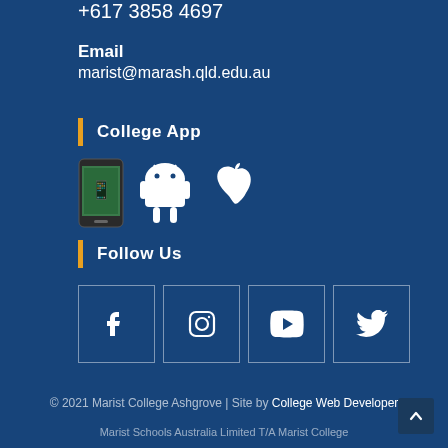+617 3858 4697
Email
marist@marash.qld.edu.au
College App
[Figure (illustration): Three app store icons: a smartphone screenshot, Android robot icon, and Apple logo icon]
Follow Us
[Figure (illustration): Four social media icons in bordered square boxes: Facebook, Instagram, YouTube, Twitter]
© 2021 Marist College Ashgrove | Site by College Web Developer
Marist Schools Australia Limited T/A Marist College